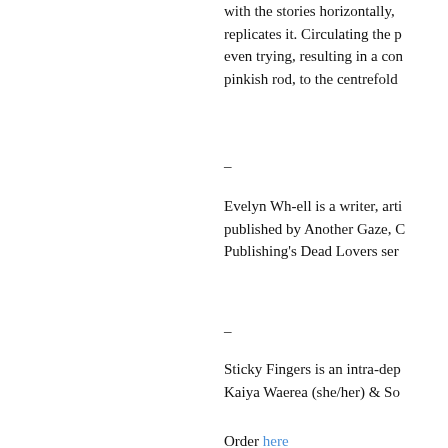with the stories horizontally, replicates it. Circulating the p even trying, resulting in a con pinkish rod, to the centrefold
–
Evelyn Wh-ell is a writer, arti published by Another Gaze, C Publishing's Dead Lovers ser
–
Sticky Fingers is an intra-dep Kaiya Waerea (she/her) & So
Order here